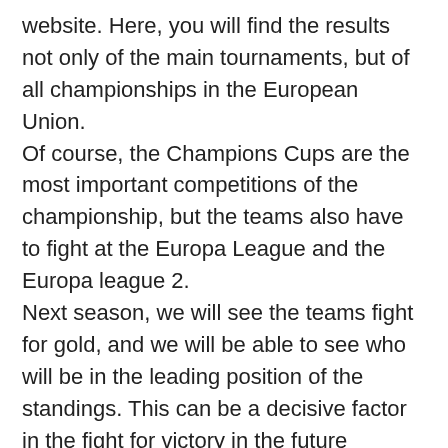website. Here, you will find the results not only of the main tournaments, but of all championships in the European Union. Of course, the Champions Cups are the most important competitions of the championship, but the teams also have to fight at the Europa League and the Europa league 2. Next season, we will see the teams fight for gold, and we will be able to see who will be in the leading position of the standings. This can be a decisive factor in the fight for victory in the future season. Fans can follow the Champions and Europa cups results on f score. Here you will always find a detailed analysis of the results. The site is updated regularly, and you can learn the latest results of all matches.